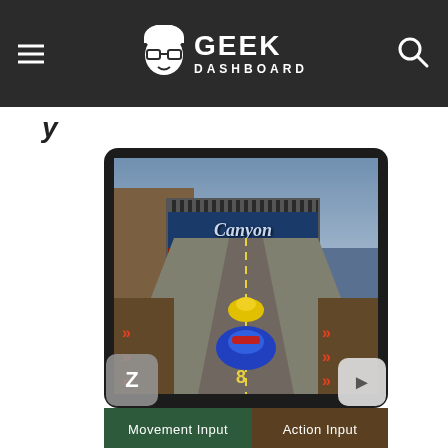GEEK DASHBOARD
y
[Figure (screenshot): Screenshot of a retro racing video game showing Canyon racing track with a blue race car in foreground and yellow car ahead, with 'Canyon ASCII Racing Association' sign visible. Below the game screen are two control panels: 'Movement Input' on the left (dark green) and 'Action Input' on the right (dark brown), each showing hand gesture icons for touch controls. A 'Z' button overlay appears bottom-left and an 'i' button overlay appears bottom-right of the game display.]